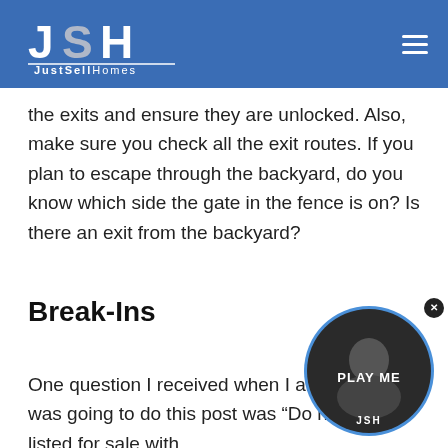JustSellHomes logo and navigation
the exits and ensure they are unlocked. Also, make sure you check all the exit routes. If you plan to escape through the backyard, do you know which side the gate in the fence is on? Is there an exit from the backyard?
Break-Ins
One question I received when I announced I was going to do this post was “Do homes listed for sale with
[Figure (photo): Circular video widget showing a man with PLAY ME label, with blue border and close button]